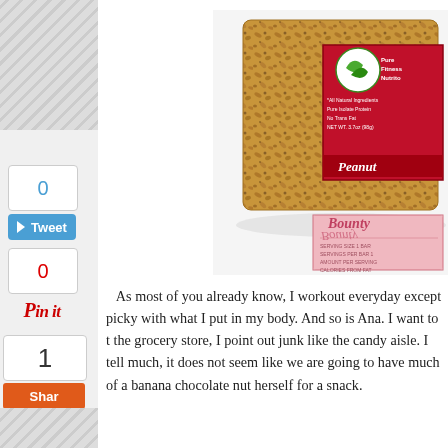[Figure (photo): Product photo of a Pure Fitness Nutrition protein bar (Peanut flavor) with granola/nut texture visible, showing the branded packaging with red label]
As most of you already know, I workout everyday except picky with what I put in my body. And so is Ana. I want to t the grocery store, I point out junk like the candy aisle. I tell much, it does not seem like we are going to have much of a banana chocolate nut herself for a snack.